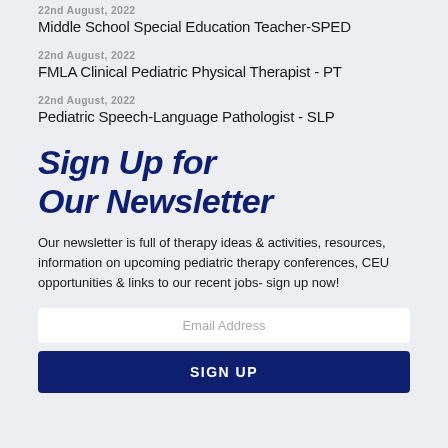22nd August, 2022
Middle School Special Education Teacher-SPED
22nd August, 2022
FMLA Clinical Pediatric Physical Therapist - PT
22nd August, 2022
Pediatric Speech-Language Pathologist - SLP
Sign Up for Our Newsletter
Our newsletter is full of therapy ideas & activities, resources, information on upcoming pediatric therapy conferences, CEU opportunities & links to our recent jobs- sign up now!
Email Address
SIGN UP